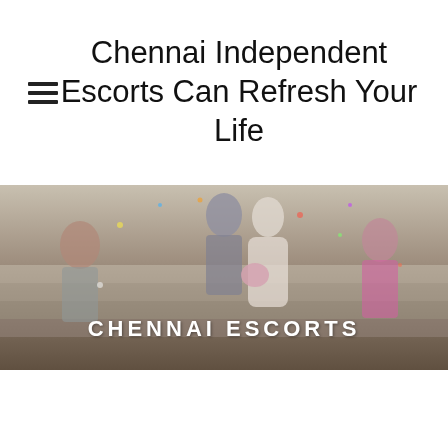Chennai Independent Escorts Can Refresh Your Life
[Figure (photo): A wedding/celebration photo showing a couple on stone steps with confetti, overlaid with bold white text 'CHENNAI ESCORTS']